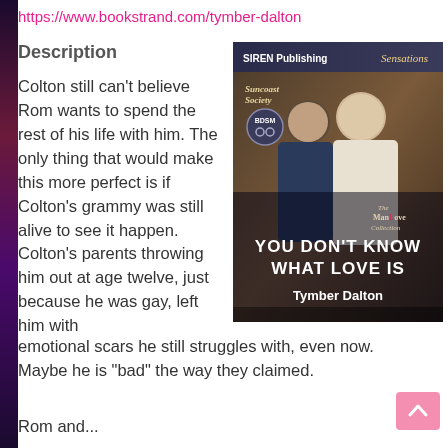https://www.bookstrand.com/tymber-dalton
Description
[Figure (photo): Book cover for 'You Don't Know What Love Is' by Tymber Dalton, published by Siren Publishing Sensations. Shows two men on the cover with series labels 'Suncoast Society', 'BDSM', and 'The ManLove Collection'.]
Colton still can't believe Rom wants to spend the rest of his life with him. The only thing that would make this more perfect is if Colton's grammy was still alive to see it happen. Colton's parents throwing him out at age twelve, just because he was gay, left him with emotional scars he still struggles with, even now. Maybe he is "bad" the way they claimed.
Rom and...